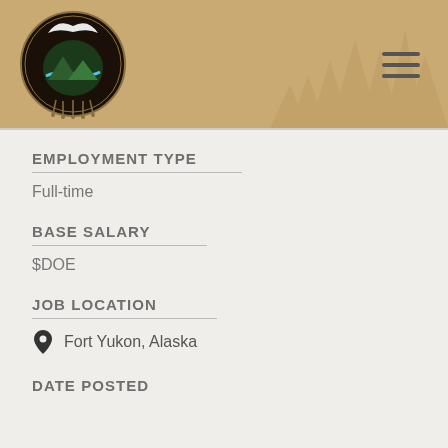[Figure (logo): Council of Athabascan Tribal Governments circular seal/logo with eagle and wildlife imagery, on a tan/sandy background with faint pine tree silhouettes]
EMPLOYMENT TYPE
Full-time
BASE SALARY
$DOE
JOB LOCATION
Fort Yukon, Alaska
DATE POSTED